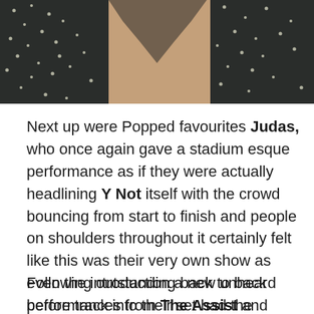[Figure (photo): Close-up photo of a person wearing a dark patterned jacket with white dots/spots, partial face and neck visible]
Next up were Popped favourites Judas, who once again gave a stadium esque performance as if they were actually headlining Y Not itself with the crowd bouncing from start to finish and people on shoulders throughout it certainly felt like this was their very own show as even the introduction a new unheard before track into their set had the audience singing back. I honestly never get tired of watching these boys and with stunning performances like this, it's no wonder I got mobbed handing out CD's at the end of their set.
Following outstanding back to back performances from The Assist and Judas as the tent emptied out with the